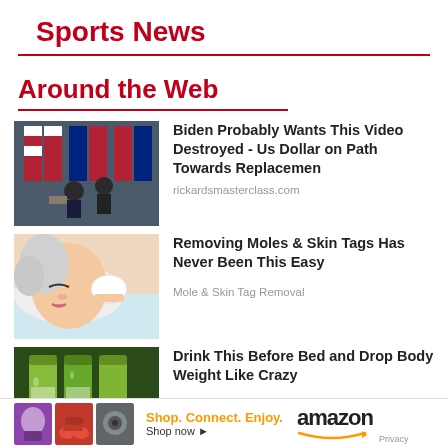Sports News
Around the Web
[Figure (photo): Photo of political figures with American flags at a podium event]
Biden Probably Wants This Video Destroyed - Us Dollar on Path Towards Replacemen
rickardsmasterclass.com
[Figure (illustration): Illustration of a woman applying something to her face with a cotton pad]
Removing Moles & Skin Tags Has Never Been This Easy
Mole & Skin Tag Removal
[Figure (photo): Photo of green drink bottles with cucumbers and limes]
Drink This Before Bed and Drop Body Weight Like Crazy
[Figure (photo): Amazon advertisement banner with tagline Shop. Connect. Enjoy. and Amazon logo]